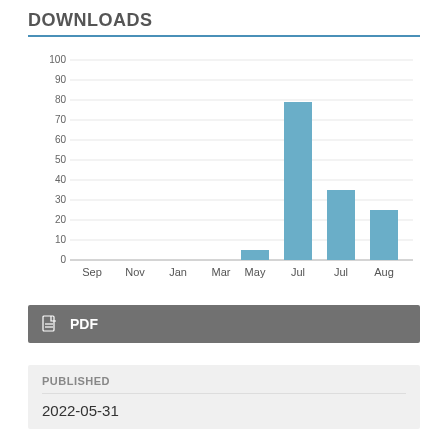DOWNLOADS
[Figure (bar-chart): Downloads by month]
PDF
PUBLISHED
2022-05-31